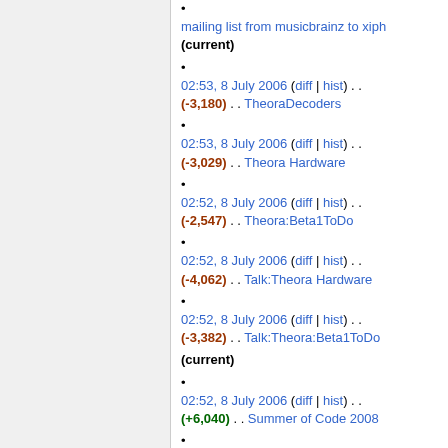mailing list from musicbrainz to xiph (current)
02:53, 8 July 2006 (diff | hist) . . (-3,180) . . TheoraDecoders
02:53, 8 July 2006 (diff | hist) . . (-3,029) . . Theora Hardware
02:52, 8 July 2006 (diff | hist) . . (-2,547) . . Theora:Beta1ToDo
02:52, 8 July 2006 (diff | hist) . . (-4,062) . . Talk:Theora Hardware
02:52, 8 July 2006 (diff | hist) . . (-3,382) . . Talk:Theora:Beta1ToDo (current)
02:52, 8 July 2006 (diff | hist) . . (+6,040) . . Summer of Code 2008
02:50, 8 July 2006 (diff | hist) . . (+1,853) . . OggPCM Draft3
02:50, 8 July 2006 (diff | hist) . . (-4,062) . . Talk:Summer of Code 2008